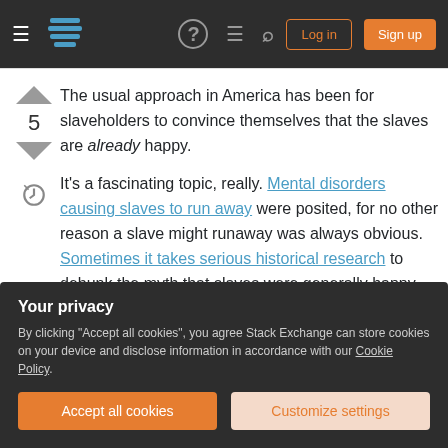Stack Exchange navigation bar with hamburger menu, logo, help, chat, search, Log in, Sign up
The usual approach in America has been for slaveholders to convince themselves that the slaves are already happy.
It's a fascinating topic, really. Mental disorders causing slaves to run away were posited, for no other reason a slave might runaway was always obvious. Sometimes it takes serious historical research to debunk the myth that slaves were generally happy (can't imagine how anyone would
Your privacy
By clicking "Accept all cookies", you agree Stack Exchange can store cookies on your device and disclose information in accordance with our Cookie Policy.
Accept all cookies
Customize settings